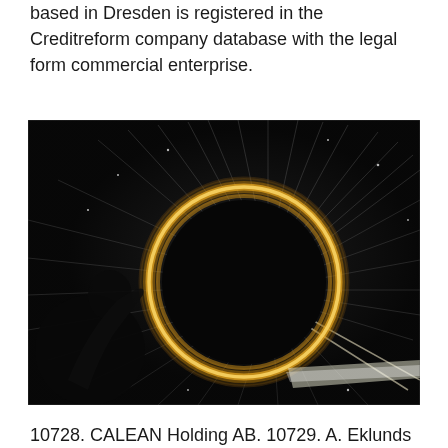based in Dresden is registered in the Creditreform company database with the legal form commercial enterprise.
[Figure (photo): A dramatic long-exposure photograph of a person spinning steel wool in a dark industrial space, creating a glowing circular ring of sparks and light trails against a dark background with scattered sparks radiating outward.]
10728. CALEAN Holding AB. 10729. A. Eklunds